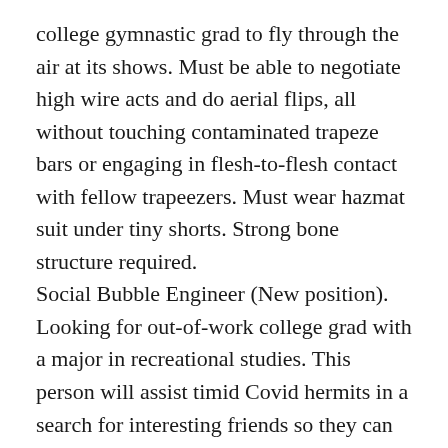college gymnastic grad to fly through the air at its shows. Must be able to negotiate high wire acts and do aerial flips, all without touching contaminated trapeze bars or engaging in flesh-to-flesh contact with fellow trapeezers. Must wear hazmat suit under tiny shorts. Strong bone structure required. Social Bubble Engineer (New position). Looking for out-of-work college grad with a major in recreational studies. This person will assist timid Covid hermits in a search for interesting friends so they can expand their circle of acquaintances to the social bubble max of 12 persons. Working knowledge of hookup and dating websites such